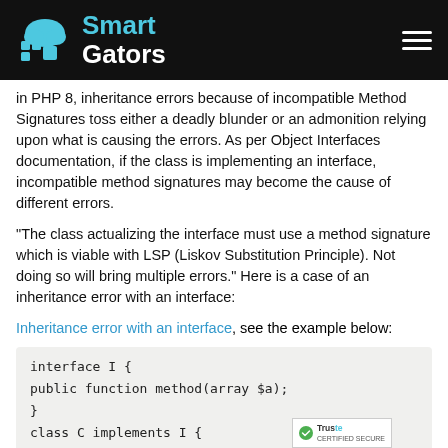Smart Gators
In PHP 8, inheritance errors because of incompatible Method Signatures toss either a deadly blunder or an admonition relying upon what is causing the errors. As per Object Interfaces documentation, if the class is implementing an interface, incompatible method signatures may become the cause of different errors.
"The class actualizing the interface must use a method signature which is viable with LSP (Liskov Substitution Principle). Not doing so will bring multiple errors." Here is a case of an inheritance error with an interface:
Inheritance error with an interface, see the example below:
[Figure (screenshot): Code block showing PHP interface and class implementation: interface I { public function method(array $a); } class C implements I { public function method(int $a) {} }]
The code mentioned in the above example throws